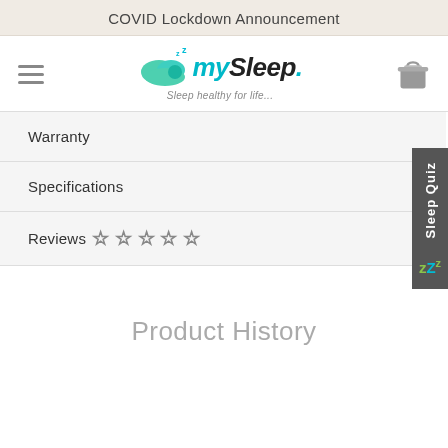COVID Lockdown Announcement
[Figure (logo): mySleep logo with cloud graphic and tagline 'Sleep healthy for life...']
Warranty
Specifications
Reviews ☆ ☆ ☆ ☆ ☆
Product History